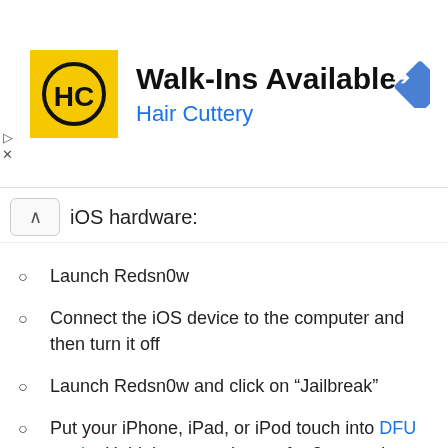[Figure (other): Hair Cuttery advertisement banner with yellow HC logo, text 'Walk-Ins Available' and 'Hair Cuttery' in blue, and a blue navigation arrow icon on the right]
iOS hardware:
Launch Redsn0w
Connect the iOS device to the computer and then turn it off
Launch Redsn0w and click on “Jailbreak”
Put your iPhone, iPad, or iPod touch into DFU mode: Hold the power button for 3 seconds, continue holding Power button and additionally hold the Home button for 10 seconds, release the Power button but continue to hold the Home button for another 15 seconds
Let redsn0w do it’s thing, make sure “Install